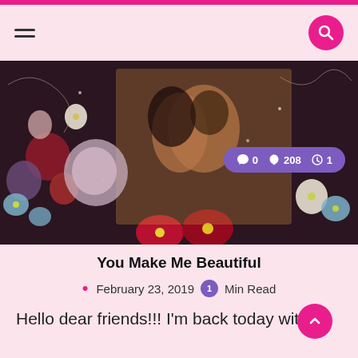[Figure (screenshot): Blog website header with pink top bar, hamburger menu icon on left, magenta search button on right]
[Figure (photo): Hero image showing a couple embracing surrounded by decorative flowers on dark background with social stats pill showing 0 comments, 208 likes, 1 min read]
You Make Me Beautiful
February 23, 2019  1 Min Read
Hello dear friends!!!  I'm back today with a